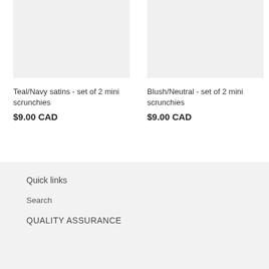[Figure (photo): Product image placeholder for Teal/Navy satins scrunchies - light gray rectangle]
Teal/Navy satins - set of 2 mini scrunchies
$9.00 CAD
[Figure (photo): Product image placeholder for Blush/Neutral scrunchies - light gray rectangle]
Blush/Neutral - set of 2 mini scrunchies
$9.00 CAD
Quick links
Search
QUALITY ASSURANCE